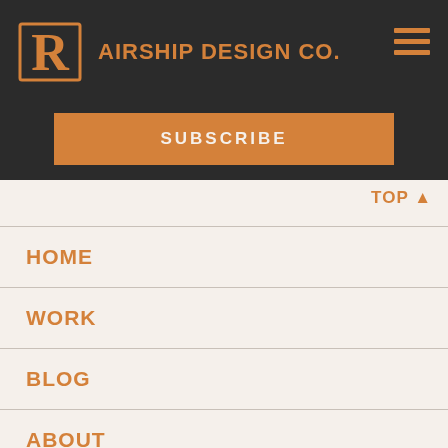AIRSHIP DESIGN CO.
SUBSCRIBE
TOP ▲
HOME
WORK
BLOG
ABOUT
CONTACT